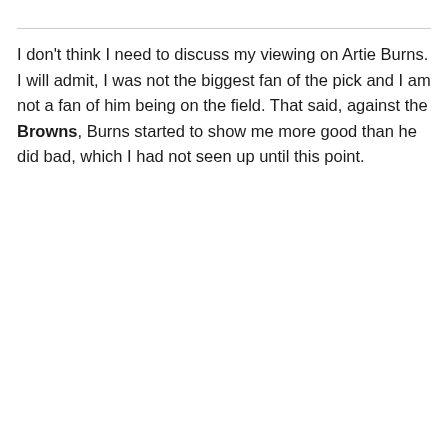I don't think I need to discuss my viewing on Artie Burns. I will admit, I was not the biggest fan of the pick and I am not a fan of him being on the field. That said, against the Browns, Burns started to show me more good than he did bad, which I had not seen up until this point.